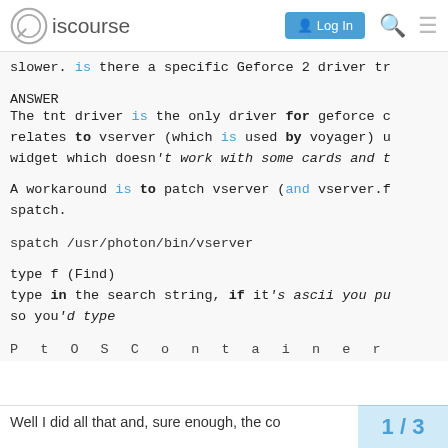Discourse | Log In
slower. is there a specific Geforce 2 driver tr
ANSWER
The tnt driver is the only driver for geforce c
relates to vserver (which is used by voyager) u
widget which doesn't work with some cards and t
A workaround is to patch vserver (and vserver.f
spatch.
spatch /usr/photon/bin/vserver
type f (Find)
type in the search string, if it's ascii you pu
so you'd type
P t O S C o n t a i n e r
Well I did all that and, sure enough, the co
1 / 3